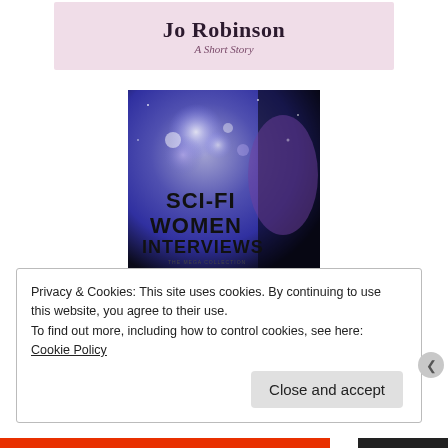[Figure (illustration): Book cover top strip showing author name 'Jo Robinson' and subtitle 'A Short Story' on a pink/mauve background]
[Figure (illustration): Sci-Fi Women Interviews book cover with purple cosmic background showing bokeh lights and a woman silhouette, bold text reading SCI-FI WOMEN INTERVIEWS]
Privacy & Cookies: This site uses cookies. By continuing to use this website, you agree to their use.
To find out more, including how to control cookies, see here: Cookie Policy
Close and accept